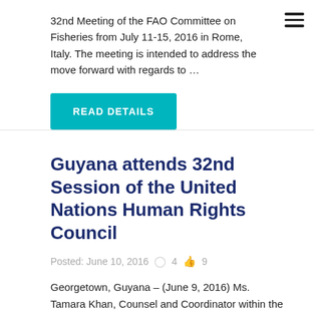32nd Meeting of the FAO Committee on Fisheries from July 11-15, 2016 in Rome, Italy. The meeting is intended to address the move forward with regards to …
READ DETAILS
Guyana attends 32nd Session of the United Nations Human Rights Council
Posted: June 10, 2016   4   9
Georgetown, Guyana – (June 9, 2016) Ms. Tamara Khan, Counsel and Coordinator within the Governance Office of the Office of the Prime Minister attended the 32nd Session of the United Nations Human Rights Council, which was held on June 8, 2016 in Geneva, Switzerland. Ms. Khan participated in the work of the United Nations Human…